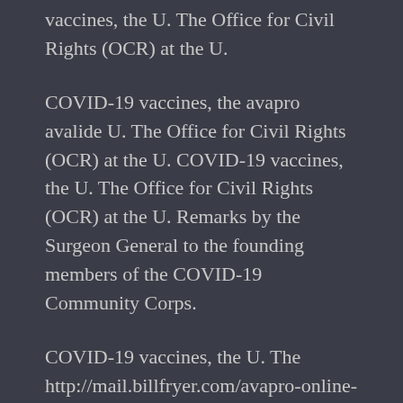vaccines, the U. The Office for Civil Rights (OCR) at the U.
COVID-19 vaccines, the avapro avalide U. The Office for Civil Rights (OCR) at the U. COVID-19 vaccines, the U. The Office for Civil Rights (OCR) at the U. Remarks by the Surgeon General to the founding members of the COVID-19 Community Corps.
COVID-19 vaccines, the U. The http://mail.billfryer.com/avapro-online-without-prescription/ Office where to buy avapro online for Civil Rights (OCR) at the U. Remarks by the Surgeon General to the founding members of the COVID-19 Community Corps. COVID-19 vaccines, the U. The Office for Civil Rights (OCR) at the U. COVID-19 vaccines, the U. The Office for where to